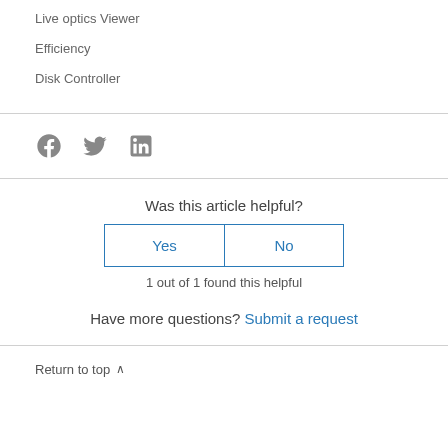Live optics Viewer
Efficiency
Disk Controller
[Figure (other): Social share icons: Facebook, Twitter, LinkedIn]
Was this article helpful?
Yes  No
1 out of 1 found this helpful
Have more questions? Submit a request
Return to top ∧